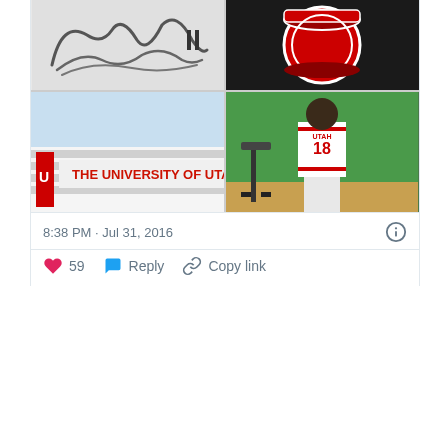[Figure (photo): A 2x2 grid of photos: top-left shows a handwritten signature on white paper; top-right shows a University of Utah Utes drum/logo on dark background; bottom-left shows the University of Utah building with red lettering 'THE UNIVERSITY OF UTAH'; bottom-right shows a football player wearing Utah #18 jersey standing in front of a green screen.]
8:38 PM · Jul 31, 2016
59  Reply  Copy link